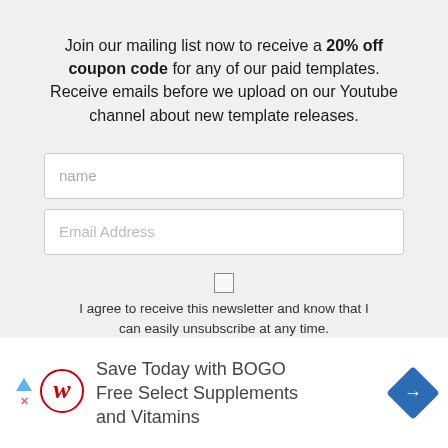Join our mailing list now to receive a 20% off coupon code for any of our paid templates. Receive emails before we upload on our Youtube channel about new template releases.
name
Email Address
I agree to receive this newsletter and know that I can easily unsubscribe at any time.
SUBSCRIBE NOW!
[Figure (other): Walgreens advertisement: Save Today with BOGO Free Select Supplements and Vitamins]
Save Today with BOGO Free Select Supplements and Vitamins